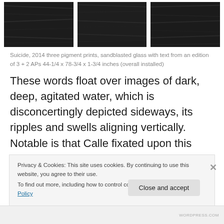[Figure (photo): Three dark, nearly black photographs showing agitated water depicted sideways, arranged in a row.]
Suicide, 2014 three pigment prints, sandblasted glass with text from an edition of 3 + 2 APs 44-1/4 x 78-3/4 x 1-3/4 inches (overall installed)
These words float over images of dark, deep, agitated water, which is disconcertingly depicted sideways, its ripples and swells aligning vertically. Notable is that Calle fixated upon this counterintuitive factoid: money so enslaves us that the despair from our mishandling of it
Privacy & Cookies: This site uses cookies. By continuing to use this website, you agree to their use.
To find out more, including how to control cookies, see here: Cookie Policy
Close and accept